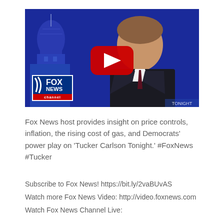[Figure (screenshot): YouTube video thumbnail showing a Fox News host (Tucker Carlson) in front of a blue background with the US Capitol building visible on the left. A large red YouTube play button is centered on the image. The Fox News Channel logo is visible in the lower left corner.]
Fox News host provides insight on price controls, inflation, the rising cost of gas, and Democrats' power play on 'Tucker Carlson Tonight.' #FoxNews #Tucker
Subscribe to Fox News! https://bit.ly/2vaBUvAS
Watch more Fox News Video: http://video.foxnews.com
Watch Fox News Channel Live: